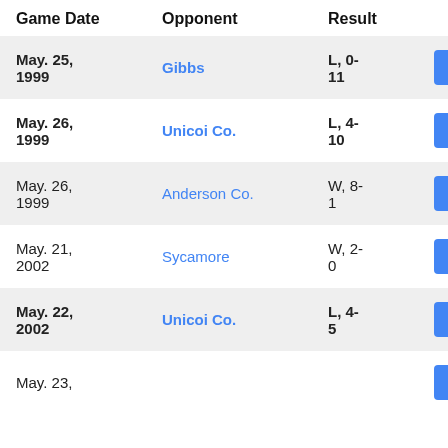| Game Date | Opponent | Result |  |
| --- | --- | --- | --- |
| May. 25, 1999 | Gibbs | L, 0-11 | RESULTS |
| May. 26, 1999 | Unicoi Co. | L, 4-10 | RESULTS |
| May. 26, 1999 | Anderson Co. | W, 8-1 | RESULTS |
| May. 21, 2002 | Sycamore | W, 2-0 | RESULTS |
| May. 22, 2002 | Unicoi Co. | L, 4-5 | RESULTS |
| May. 23, ... |  |  | RESULTS |